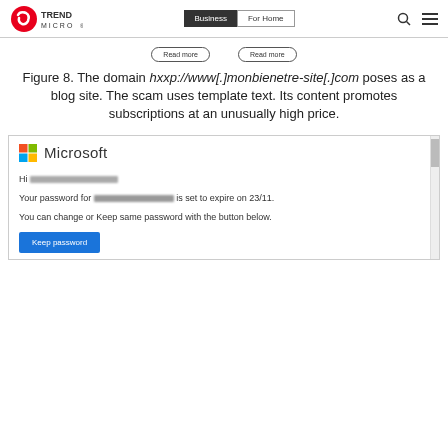Trend Micro — Business | For Home
Figure 8. The domain hxxp://www[.]monbienetre-site[.]com poses as a blog site. The scam uses template text. Its content promotes subscriptions at an unusually high price.
[Figure (screenshot): Screenshot of a Microsoft-branded phishing email. Shows the Microsoft logo at the top, a greeting 'Hi [redacted]', text 'Your password for [redacted] is set to expire on 23/11.', 'You can change or Keep same password with the button below.', and a blue 'Keep password' button.]